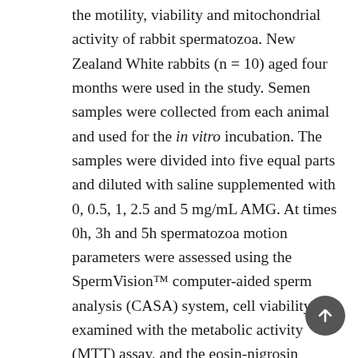the motility, viability and mitochondrial activity of rabbit spermatozoa. New Zealand White rabbits (n = 10) aged four months were used in the study. Semen samples were collected from each animal and used for the in vitro incubation. The samples were divided into five equal parts and diluted with saline supplemented with 0, 0.5, 1, 2.5 and 5 mg/mL AMG. At times 0h, 3h and 5h spermatozoa motion parameters were assessed using the SpermVision™ computer-aided sperm analysis (CASA) system, cell viability was examined with the metabolic activity (MTT) assay, and the eosin-nigrosin staining technique was used to evaluate the viability of rabbit spermatozoa. All AMG concentrations exhibited stimulating effects on the spermatozoa activity, as shown by a significant preservation of the motility (P<0.05 with respect to 0.5 mg/mL and 1 mg/mL AMG; Time 5 h) and mitochondrial activity (P< 0.05 in case of 0.5 mg/ml